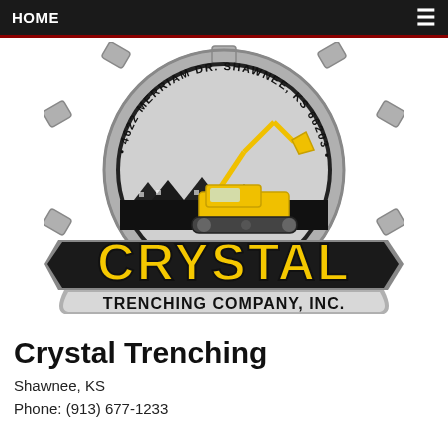HOME
[Figure (logo): Crystal Trenching Company, Inc. logo featuring a gear with an excavator silhouette in yellow and black, with text '4622 Merriam Dr. Shawnee, KS 66203' around the inner ring, 'CRYSTAL' in large yellow letters on a black banner, and 'TRENCHING COMPANY, INC.' below.]
Crystal Trenching
Shawnee, KS
Phone: (913) 677-1233